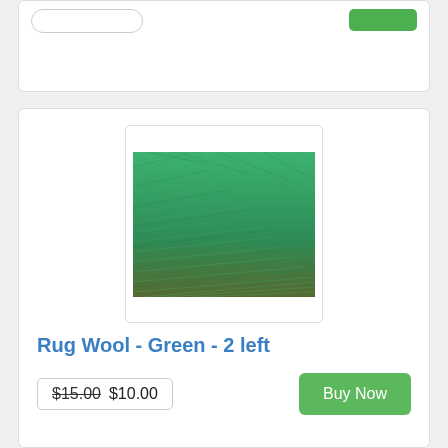[Figure (photo): Green rug wool yarn, tightly wound, shown as a rectangular skein with green fibres visible]
Rug Wool - Green - 2 left
$15.00  $10.00
Buy Now